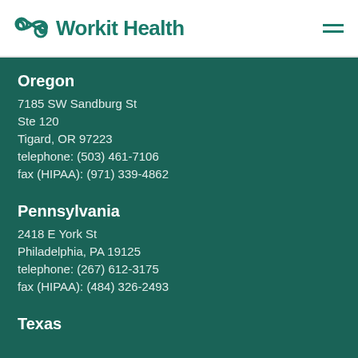[Figure (logo): Workit Health logo with infinity-style icon in teal]
Oregon
7185 SW Sandburg St
Ste 120
Tigard, OR 97223
telephone: (503) 461-7106
fax (HIPAA): (971) 339-4862
Pennsylvania
2418 E York St
Philadelphia, PA 19125
telephone: (267) 612-3175
fax (HIPAA): (484) 326-2493
Texas